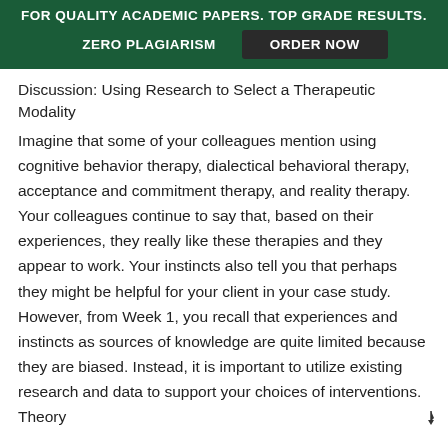FOR QUALITY ACADEMIC PAPERS. TOP GRADE RESULTS. ZERO PLAGIARISM ORDER NOW
Discussion: Using Research to Select a Therapeutic Modality
Imagine that some of your colleagues mention using cognitive behavior therapy, dialectical behavioral therapy, acceptance and commitment therapy, and reality therapy. Your colleagues continue to say that, based on their experiences, they really like these therapies and they appear to work. Your instincts also tell you that perhaps they might be helpful for your client in your case study. However, from Week 1, you recall that experiences and instincts as sources of knowledge are quite limited because they are biased. Instead, it is important to utilize existing research and data to support your choices of interventions. Theory